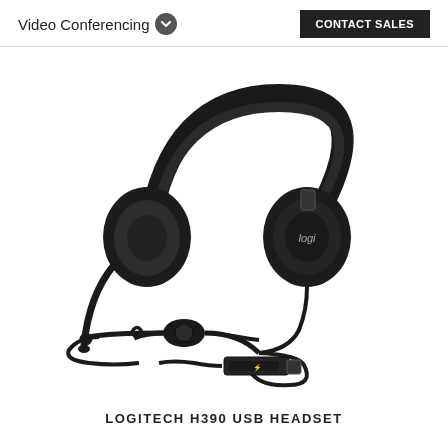Video Conferencing
CONTACT SALES
[Figure (photo): Logitech H390 USB Headset product photo showing a black over-ear headset with microphone boom arm, inline volume control module, and USB connector cable on white background.]
LOGITECH H390 USB HEADSET